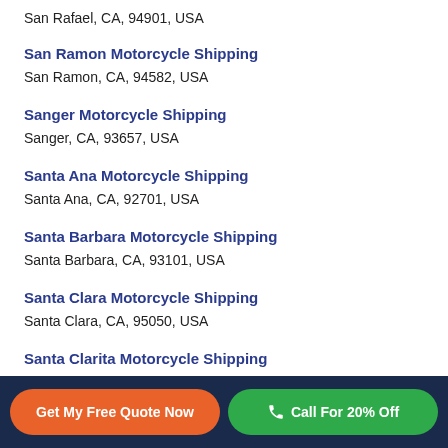San Rafael, CA, 94901, USA
San Ramon Motorcycle Shipping
San Ramon, CA, 94582, USA
Sanger Motorcycle Shipping
Sanger, CA, 93657, USA
Santa Ana Motorcycle Shipping
Santa Ana, CA, 92701, USA
Santa Barbara Motorcycle Shipping
Santa Barbara, CA, 93101, USA
Santa Clara Motorcycle Shipping
Santa Clara, CA, 95050, USA
Santa Clarita Motorcycle Shipping
Santa Clarita, CA, 91350, USA
Get My Free Quote Now | Call For 20% Off